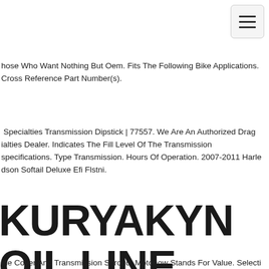[Figure (other): Navigation hamburger menu button in top-right corner]
hose Who Want Nothing But Oem. Fits The Following Bike Applications. Cross Reference Part Number(s).
Specialties Transmission Dipstick | 77557. We Are An Authorized Drag Specialties Dealer. Indicates The Fill Level Of The Transmission specifications. Type Transmission. Hours Of Operation. 2007-2011 Harley Davidson Softail Deluxe Efi Flstni.
KURYAKYN OIL LINE COVER AND TRANSMISSION SHROUD FOR 2006 HARLEY DAVIDSON NQ
ine Cover And Transmission Shroud. Motonow Stands For Value. Selecti